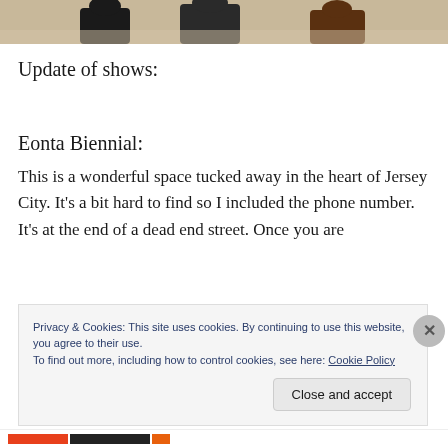[Figure (photo): Top portion of an illustration or photo showing figures in black and brown tones against a light beige background, cropped at the top of the page.]
Update of shows:
Eonta Biennial:
This is a wonderful space tucked away in the heart of Jersey City. It's a bit hard to find so I included the phone number. It's at the end of a dead end street. Once you are
Privacy & Cookies: This site uses cookies. By continuing to use this website, you agree to their use.
To find out more, including how to control cookies, see here: Cookie Policy
Close and accept